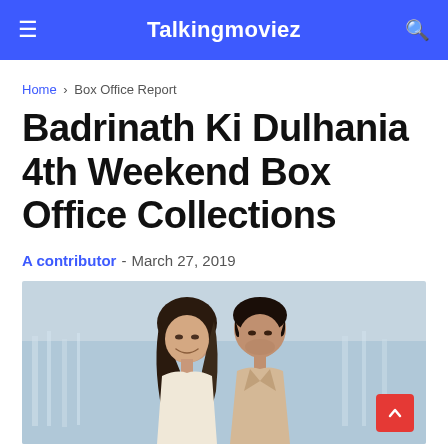Talkingmoviez
Home > Box Office Report
Badrinath Ki Dulhania 4th Weekend Box Office Collections
A contributor - March 27, 2019
[Figure (photo): A couple (man and woman) smiling closely together outdoors with a waterfall or river scene in the blurred background]